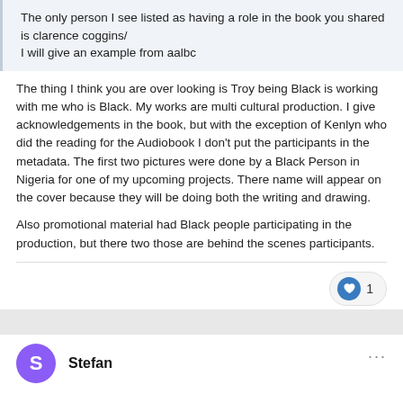The only person I see listed as having a role in the book you shared is clarence coggins/
I will give an example from aalbc
The thing I think you are over looking is Troy being Black is working with me who is Black. My works are multi cultural production. I give acknowledgements in the book, but with the exception of Kenlyn who did the reading for the Audiobook I don't put the participants in the metadata. The first two pictures were done by a Black Person in Nigeria for one of my upcoming projects. There name will appear on the cover because they will be doing both the writing and drawing.
Also promotional material had Black people participating in the production, but there two those are behind the scenes participants.
1
Stefan